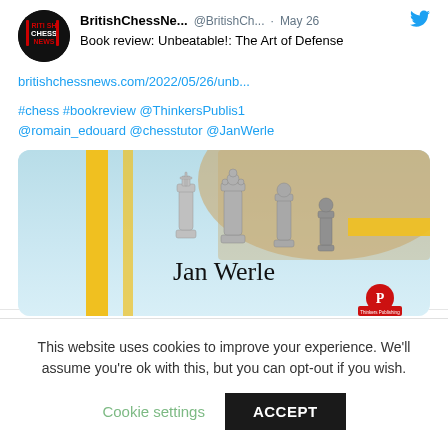BritishChessNe... @BritishCh... · May 26
Book review: Unbeatable!: The Art of Defense
britishchessnews.com/2022/05/26/unb...
#chess #bookreview @ThinkersPublis1 @romain_edouard @chesstutor @JanWerle
[Figure (illustration): Book cover illustration showing chess pieces (king, queen, pawns) on a light blue background with yellow geometric elements. Text reads 'Jan Werle' with Thinkers Publishing logo.]
This website uses cookies to improve your experience. We'll assume you're ok with this, but you can opt-out if you wish.
Cookie settings   ACCEPT